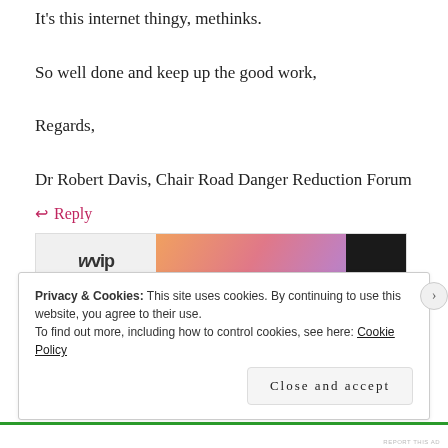It's this internet thingy, methinks.
So well done and keep up the good work,
Regards,
Dr Robert Davis, Chair Road Danger Reduction Forum
↩ Reply
[Figure (screenshot): Advertisement banner with 'VIP' logo on left and gradient orange/pink/purple background on right with dark block]
REPORT THIS AD
Privacy & Cookies: This site uses cookies. By continuing to use this website, you agree to their use.
To find out more, including how to control cookies, see here: Cookie Policy
Close and accept